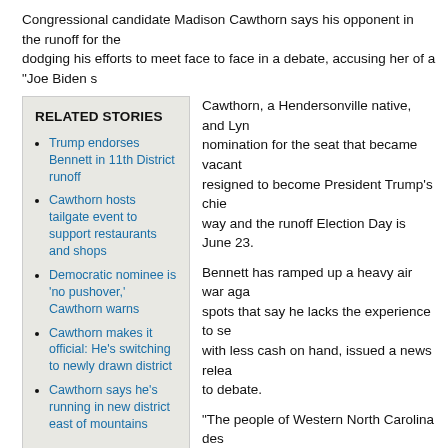Congressional candidate Madison Cawthorn says his opponent in the runoff for the dodging his efforts to meet face to face in a debate, accusing her of a "Joe Biden s
Trump endorses Bennett in 11th District runoff
Cawthorn hosts tailgate event to support restaurants and shops
Democratic nominee is 'no pushover,' Cawthorn warns
Cawthorn makes it official: He's switching to newly drawn district
Cawthorn says he's running in new district east of mountains
Cawthorn, a Hendersonville native, and Lyn nomination for the seat that became vacant resigned to become President Trump's chie way and the runoff Election Day is June 23.
Bennett has ramped up a heavy air war aga spots that say he lacks the experience to se with less cash on hand, issued a news relea to debate.
"The people of Western North Carolina des who will stand and fight, one who will passi believe in and defend the cause of conserv release.
A live debate "is not her strong suit," Cawthorn said in an interview last week at his mind if you're not willing to show up and put on display the way you can defend co yourself to tough questioning from constituents then how are you going to be able
Jane Bilello, a Tea Party activist from Flat Rock who was handbilling for Bennett at opening day of early voting last week, defended her candidate's record.